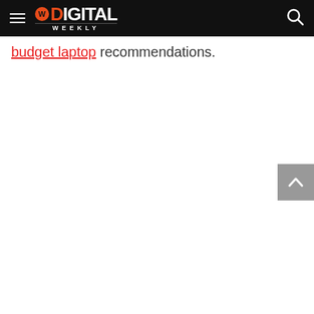Digital Weekly
budget laptop recommendations.